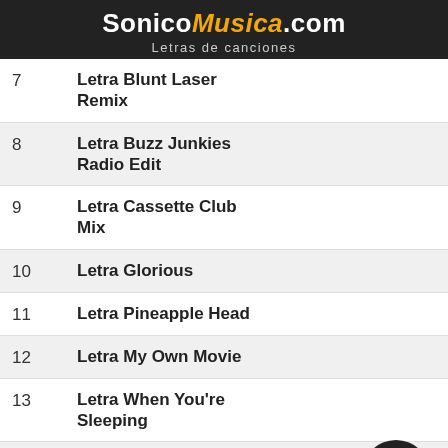SonicoMusica.com
Letras de canciones
7  Letra Blunt Laser Remix
8  Letra Buzz Junkies Radio Edit
9  Letra Cassette Club Mix
10  Letra Glorious
11  Letra Pineapple Head
12  Letra My Own Movie
13  Letra When You're Sleeping
14  Letra Shiver
15  Letra Hide Behind The Sun
Ver más letras ▼